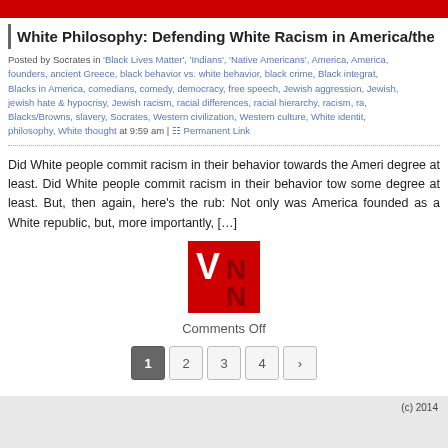White Philosophy: Defending White Racism in America/the W
Posted by Socrates in 'Black Lives Matter', 'Indians', 'Native Americans', America, America, founders, ancient Greece, black behavior vs. white behavior, black crime, Black integrat, Blacks in America, comedians, comedy, democracy, free speech, Jewish aggression, Jewish, jewish hate & hypocrisy, Jewish racism, racial differences, racial hierarchy, racism, ra, Blacks/Browns, slavery, Socrates, Western civilization, Western culture, White identit, philosophy, White thought at 9:59 am | Permanent Link
Did White people commit racism in their behavior towards the Ameri degree at least. Did White people commit racism in their behavior tow some degree at least. But, then again, here's the rub: Not only was America founded as a White republic, but, more importantly, [...]
[Figure (logo): VNN logo - red square with white V and N letters]
Comments Off
1 2 3 4 ›
(c) 2014